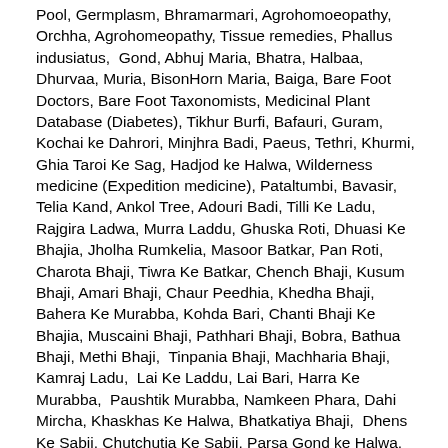Pool, Germplasm, Bhramarmari, Agrohomoeopathy, Orchha, Agrohomeopathy, Tissue remedies, Phallus indusiatus, Gond, Abhuj Maria, Bhatra, Halbaa, Dhurvaa, Muria, BisonHorn Maria, Baiga, Bare Foot Doctors, Bare Foot Taxonomists, Medicinal Plant Database (Diabetes), Tikhur Burfi, Bafauri, Guram, Kochai ke Dahrori, Minjhra Badi, Paeus, Tethri, Khurmi, Ghia Taroi Ke Sag, Hadjod ke Halwa, Wilderness medicine (Expedition medicine), Pataltumbi, Bavasir, Telia Kand, Ankol Tree, Adouri Badi, Tilli Ke Ladu, Rajgira Ladwa, Murra Laddu, Ghuska Roti, Dhuasi Ke Bhajia, Jholha Rumkelia, Masoor Batkar, Pan Roti, Charota Bhaji, Tiwra Ke Batkar, Chench Bhaji, Kusum Bhaji, Amari Bhaji, Chaur Peedhia, Khedha Bhaji, Bahera Ke Murabba, Kohda Bari, Chanti Bhaji Ke Bhajia, Muscaini Bhaji, Pathhari Bhaji, Bobra, Bathua Bhaji, Methi Bhaji, Tinpania Bhaji, Machharia Bhaji, Kamraj Ladu, Lai Ke Laddu, Lai Bari, Harra Ke Murabba, Paushtik Murabba, Namkeen Phara, Dahi Mircha, Khaskhas Ke Halwa, Bhatkatiya Bhaji, Dhens Ke Sabji, Chutchutia Ke Sabji, Parsa Gond ke Halwa, Umrasa, Chiraunji Ke Burfi, Barejha Kanda, Bael Phal Ke Shurbut, Bhatkatiya Phar Ke Sag, Dhanbaher Phool Ke Chutney, Keu Ke Sag, Chinta Bhaji, Chapra Ke Chai, Bans Ke Athan, Telia Bhaji, KeuKand ke